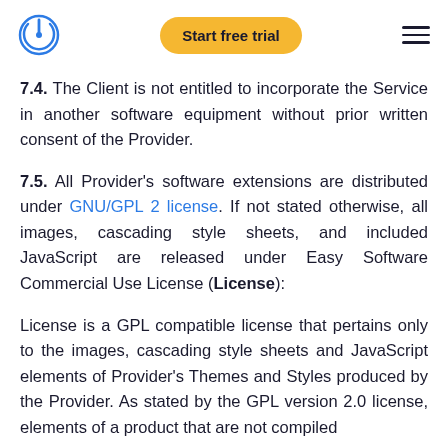Start free trial
7.4. The Client is not entitled to incorporate the Service in another software equipment without prior written consent of the Provider.
7.5. All Provider's software extensions are distributed under GNU/GPL 2 license. If not stated otherwise, all images, cascading style sheets, and included JavaScript are released under Easy Software Commercial Use License (License):
License is a GPL compatible license that pertains only to the images, cascading style sheets and JavaScript elements of Provider's Themes and Styles produced by the Provider. As stated by the GPL version 2.0 license, elements of a product that are not compiled